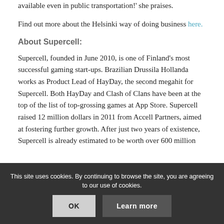available even in public transportation!' she praises.
Find out more about the Helsinki way of doing business here.
About Supercell:
Supercell, founded in June 2010, is one of Finland's most successful gaming start-ups. Brazilian Drussila Hollanda works as Product Lead of HayDay, the second megahit for Supercell. Both HayDay and Clash of Clans have been at the top of the list of top-grossing games at App Store. Supercell raised 12 million dollars in 2011 from Accell Partners, aimed at fostering further growth. After just two years of existence, Supercell is already estimated to be worth over 600 million
This site uses cookies. By continuing to browse the site, you are agreeing to our use of cookies.